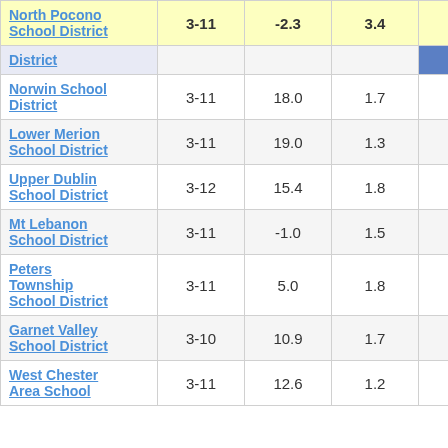| District | Grades | Col3 | Col4 | Col5 |
| --- | --- | --- | --- | --- |
| North Pocono School District | 3-11 | -2.3 | 3.4 | -0.68 |
| District |  |  |  |  |
| Norwin School District | 3-11 | 18.0 | 1.7 | 10.37 |
| Lower Merion School District | 3-11 | 19.0 | 1.3 | 14.93 |
| Upper Dublin School District | 3-12 | 15.4 | 1.8 | 8.53 |
| Mt Lebanon School District | 3-11 | -1.0 | 1.5 | -0.70 |
| Peters Township School District | 3-11 | 5.0 | 1.8 | 2.76 |
| Garnet Valley School District | 3-10 | 10.9 | 1.7 | 6.53 |
| West Chester Area School | 3-11 | 12.6 | 1.2 | 10.38 |